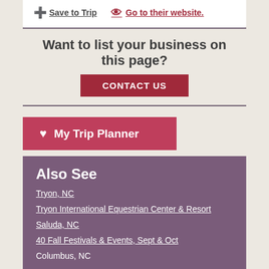Inn with exquisite dining.
Save to Trip   Go to their website.
Want to list your business on this page?
CONTACT US
♥ My Trip Planner
Also See
Tryon, NC
Tryon International Equestrian Center & Resort
Saluda, NC
40 Fall Festivals & Events, Sept & Oct
Columbus, NC